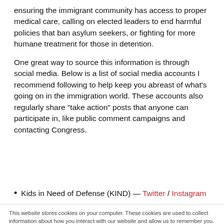ensuring the immigrant community has access to proper medical care, calling on elected leaders to end harmful policies that ban asylum seekers, or fighting for more humane treatment for those in detention.
One great way to source this information is through social media. Below is a list of social media accounts I recommend following to help keep you abreast of what's going on in the immigration world. These accounts also regularly share "take action" posts that anyone can participate in, like public comment campaigns and contacting Congress.
Kids in Need of Defense (KIND) — Twitter / Instagram
This website stores cookies on your computer. These cookies are used to collect information about how you interact with our website and allow us to remember you. We use this information in order to improve and customize your browsing experience and for analytics and metrics about our visitors both on this website and other media. To find out more about the cookies we use, see our Privacy Policy.
Accept
Don't ask me again